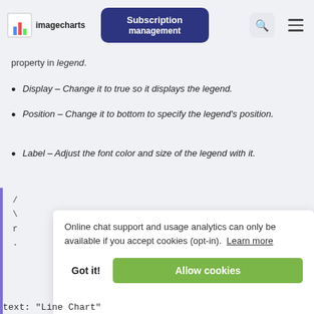imagecharts | Subscription management
property in legend.
Display – Change it to true so it displays the legend.
Position – Change it to bottom to specify the legend's position.
Label – Adjust the font color and size of the legend with it.
Online chat support and usage analytics can only be available if you accept cookies (opt-in). Learn more
Got it!   Allow cookies
text: "Line Chart"